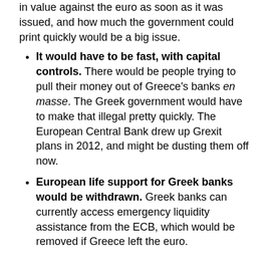in value against the euro as soon as it was issued, and how much the government could print quickly would be a big issue.
It would have to be fast, with capital controls. There would be people trying to pull their money out of Greece's banks en masse. The Greek government would have to make that illegal pretty quickly. The European Central Bank drew up Grexit plans in 2012, and might be dusting them off now.
European life support for Greek banks would be withdrawn. Greek banks can currently access emergency liquidity assistance from the ECB, which would be removed if Greece left the euro.